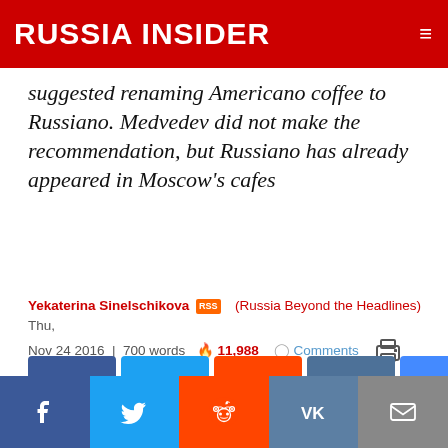RUSSIA INSIDER
suggested renaming Americano coffee to Russiano. Medvedev did not make the recommendation, but Russiano has already appeared in Moscow's cafes
Yekaterina Sinelschikova [RSS] (Russia Beyond the Headlines) Thu, Nov 24 2016 | 700 words 🔥 11,988 💬 Comments 🖨
[Figure (other): Social share buttons: Facebook, Twitter, Reddit, VK, Messenger, Telegram, WhatsApp, Email]
MORE: SOCIETY
[Figure (other): Bottom social share bar: Facebook, Twitter, Reddit, VK, Email]